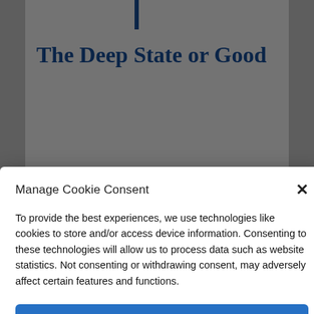The Deep State or Good
Manage Cookie Consent
To provide the best experiences, we use technologies like cookies to store and/or access device information. Consenting to these technologies will allow us to process data such as website statistics. Not consenting or withdrawing consent, may adversely affect certain features and functions.
Accept
Cookie Policy   Privacy Policy
Tillerson has yet to emerge from wherever he sought solace. Kelly was